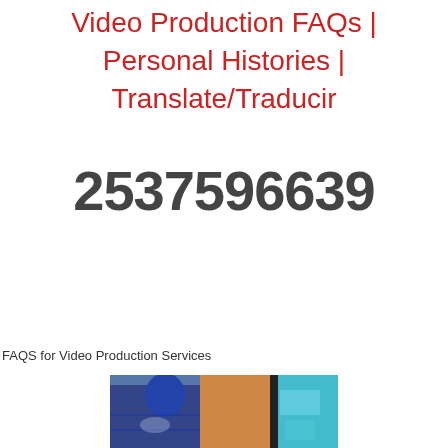Video Production FAQs | Personal Histories | Translate/Traducir
2537596639
FAQS for Video Production Services
[Figure (photo): A photo showing a person wearing a blue jacket and equipment, with colorful background elements]